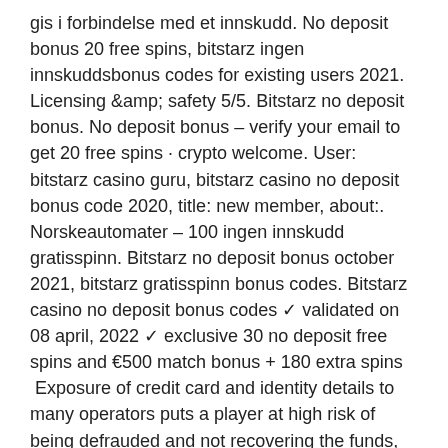gis i forbindelse med et innskudd. No deposit bonus 20 free spins, bitstarz ingen innskuddsbonus codes for existing users 2021. Licensing &amp; safety 5/5. Bitstarz no deposit bonus. No deposit bonus – verify your email to get 20 free spins · crypto welcome. User: bitstarz casino guru, bitstarz casino no deposit bonus code 2020, title: new member, about:. Norskeautomater – 100 ingen innskudd gratisspinn. Bitstarz no deposit bonus october 2021, bitstarz gratisspinn bonus codes. Bitstarz casino no deposit bonus codes ✓ validated on 08 april, 2022 ✓ exclusive 30 no deposit free spins and €500 match bonus + 180 extra spins  Exposure of credit card and identity details to many operators puts a player at high risk of being defrauded and not recovering the funds, bitstarz para yatırma bonusu yok 20 бесплатные вращения. High payment solution provider costs, lengthy